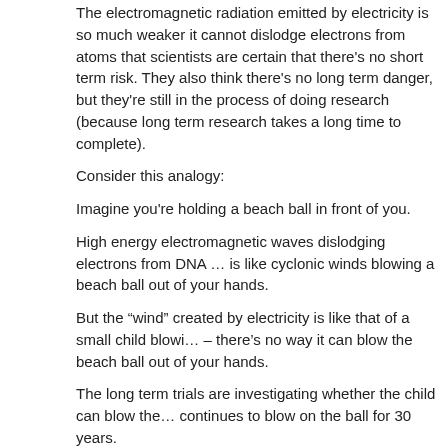The electromagnetic radiation emitted by electricity is so much weaker it cannot dislodge electrons from atoms that scientists are certain that there's no short term risk. They also think there's no long term danger, but they're still in the process of doing research (because long term research takes a long time to complete).
Consider this analogy:
Imagine you’re holding a beach ball in front of you.
High energy electromagnetic waves dislodging electrons from DNA is like cyclonic winds blowing a beach ball out of your hands.
But the “wind” created by electricity is like that of a small child blowing – there’s no way it can blow the beach ball out of your hands.
The long term trials are investigating whether the child can blow the ball out if he continues to blow on the ball for 30 years.
Nobody can think of a logical way that a long term tiny force could b…
CAN “DIRTY ELECTRICITY” CAUSE CANC…
Stetzer claims that “dirty electricity” is just tiny variations in the volta…
These fluctuations occur between 4000 and 100,000 times per seco… producing electromagnetic radiation at those frequencies – which ha… waves.